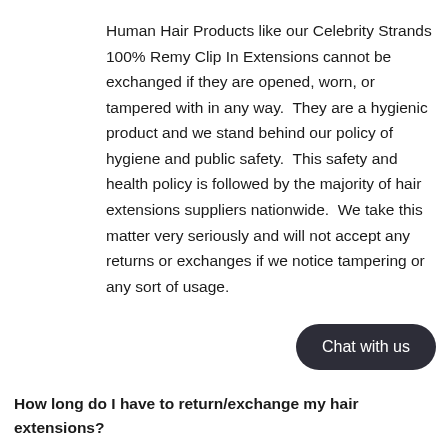Human Hair Products like our Celebrity Strands 100% Remy Clip In Extensions cannot be exchanged if they are opened, worn, or tampered with in any way.  They are a hygienic product and we stand behind our policy of hygiene and public safety.  This safety and health policy is followed by the majority of hair extensions suppliers nationwide.  We take this matter very seriously and will not accept any returns or exchanges if we notice tampering or any sort of usage.
How long do I have to return/exchange my hair extensions?